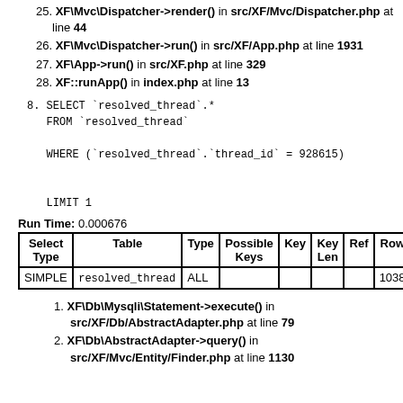25. XF\Mvc\Dispatcher->render() in src/XF/Mvc/Dispatcher.php at line 44
26. XF\Mvc\Dispatcher->run() in src/XF/App.php at line 1931
27. XF\App->run() in src/XF.php at line 329
28. XF::runApp() in index.php at line 13
8. SELECT `resolved_thread`.* FROM `resolved_thread` WHERE (`resolved_thread`.`thread_id` = 928615) LIMIT 1
Run Time: 0.000676
| Select Type | Table | Type | Possible Keys | Key | Key Len | Ref | Row... |
| --- | --- | --- | --- | --- | --- | --- | --- |
| SIMPLE | resolved_thread | ALL |  |  |  |  | 1038... |
1. XF\Db\Mysqli\Statement->execute() in src/XF/Db/AbstractAdapter.php at line 79
2. XF\Db\AbstractAdapter->query() in src/XF/Mvc/Entity/Finder.php at line 1130